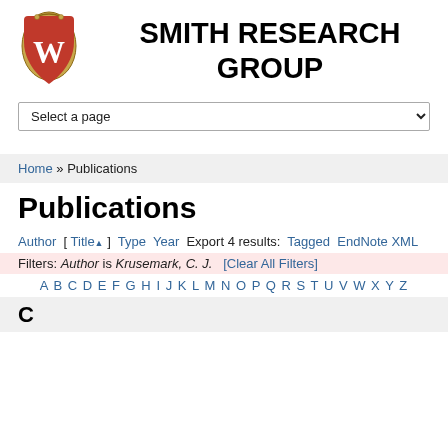SMITH RESEARCH GROUP
Select a page
Home » Publications
Publications
Author [ Title▲ ] Type Year Export 4 results: Tagged EndNote XML
Filters: Author is Krusemark, C. J. [Clear All Filters]
A B C D E F G H I J K L M N O P Q R S T U V W X Y Z
C